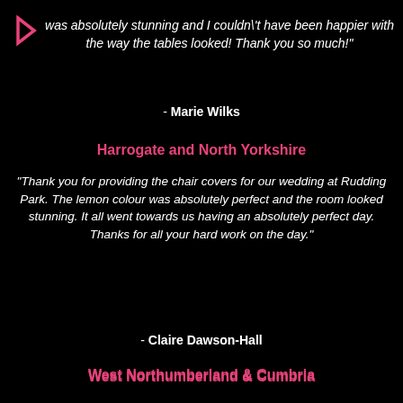was absolutely stunning and I couldn't have been happier with the way the tables looked! Thank you so much!"
- Marie Wilks
Harrogate and North Yorkshire
"Thank you for providing the chair covers for our wedding at Rudding Park. The lemon colour was absolutely perfect and the room looked stunning. It all went towards us having an absolutely perfect day. Thanks for all your hard work on the day."
- Claire Dawson-Hall
West Northumberland & Cumbria
"Thank you for all of your hard work leading up to and on Saturday! The room looked absolutely beautiful! :)"
- Lisa Horley
Harrogate and North Yorkshire
"Thank you for doing such a great job. All the covers looked